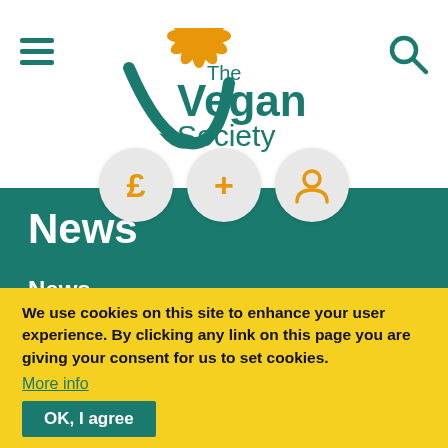[Figure (logo): The Vegan Society logo with orange flower emblem and teal text]
[Figure (infographic): Three circular icon buttons: pound sign (£), plus sign (+), and person/account icon, in orange on grey circles]
News
News
Blog
Events
We use cookies on this site to enhance your user experience. By clicking any link on this page you are giving your consent for us to set cookies.
More info
OK, I agree